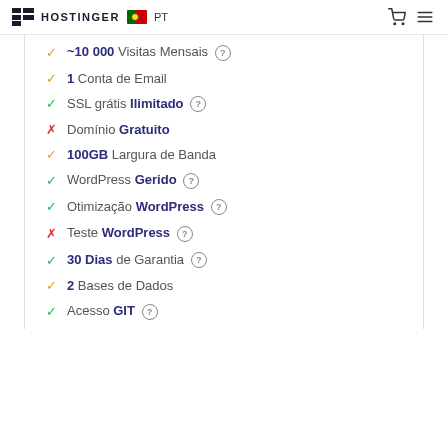HOSTINGER PT
~10 000 Visitas Mensais
1 Conta de Email
SSL grátis Ilimitado
Domínio Gratuito
100GB Largura de Banda
WordPress Gerido
Otimização WordPress
Teste WordPress
30 Dias de Garantia
2 Bases de Dados
Acesso GIT